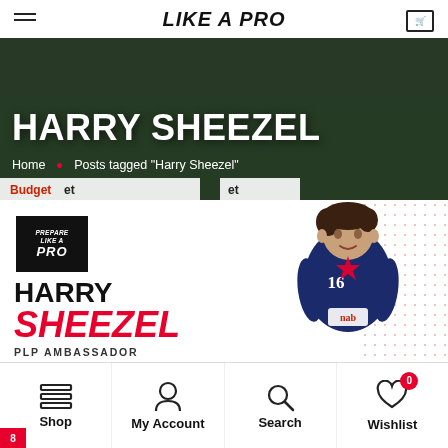PREPARE LIKE A PRO
HARRY SHEEZEL
Home · Posts tagged "Harry Sheezel"
[Figure (photo): Harry Sheezel promotional card with PLP Ambassador logo, name in black and red italic text, and player photo in navy jersey number 16]
Shop  My Account  Search  Wishlist 0